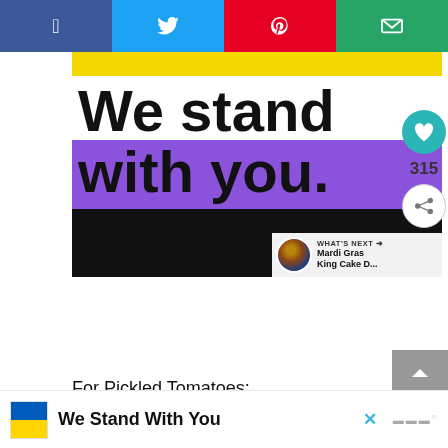Social sharing bar: Facebook, Twitter, Pinterest, Email
[Figure (illustration): Social media post image with yellow bar at top, bold text 'We stand' on white background, 'with you.' on purple background, and black band at bottom. 'What's Next' overlay with Mardi Gras King Cake thumbnail.]
For Pickled Tomatoes:
2 cups cider vinegar
2 chopped garlic cloves
[Figure (infographic): Bottom banner with Ukraine flag (blue and yellow), bold text 'We Stand With You', close X button, and watermark logo. White background overlay.]